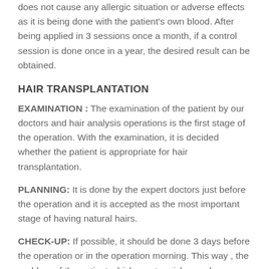does not cause any allergic situation or adverse effects as it is being done with the patient's own blood. After being applied in 3 sessions once a month, if a control session is done once in a year, the desired result can be obtained.
HAIR TRANSPLANTATION
EXAMINATION : The examination of the patient by our doctors and hair analysis operations is the first stage of the operation. With the examination, it is decided whether the patient is appropriate for hair transplantation.
PLANNING: It is done by the expert doctors just before the operation and it is accepted as the most important stage of having natural hairs.
CHECK-UP: If possible, it should be done 3 days before the operation or in the operation morning. This way , the problem of the patient which creates risks can be determined and measures can be taken.